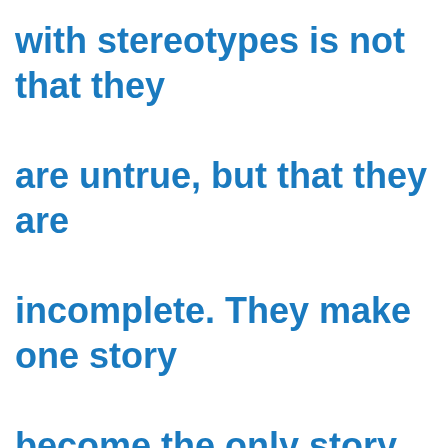with stereotypes is not that they are untrue, but that they are incomplete. They make one story become the only story.
13:25
Of course, Africa is a continent full of catastrophes:There are immense ones, such as the horrific rapes in Congoand depressing ones,such as the fact that 5,000 people apply for one job vacancy in Nigeria. But there are other stories that are not about catastrophe, and it is